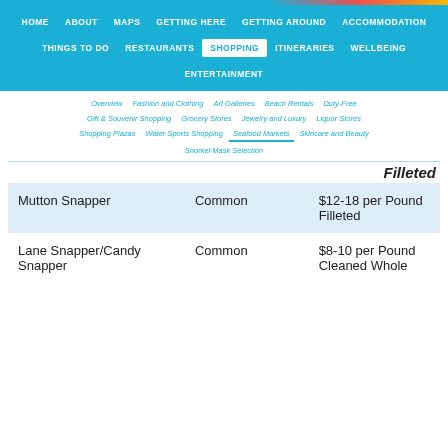HOME | ABOUT | MAPS | GETTING HERE | GETTING AROUND | ACCOMMODATION | THINGS TO DO | RESTAURANTS | SHOPPING | ITINERARIES | WELLBEING | ENTERTAINMENT
Overview | Fashion and Clothing | Art Galleries | Beach Rentals | Duty-Free | Gift & Souvenir Shopping | Grocery Stores | Jewelry and Luxury | Liquor Stores | Shopping Plazas | Water Sports Shopping | Seafood Markets | Skincare and Beauty | Snorkel Mask Selection
|  |  | Filleted |
| --- | --- | --- |
| Mutton Snapper | Common | $12-18 per Pound Filleted |
| Lane Snapper/Candy Snapper | Common | $8-10 per Pound Cleaned Whole |